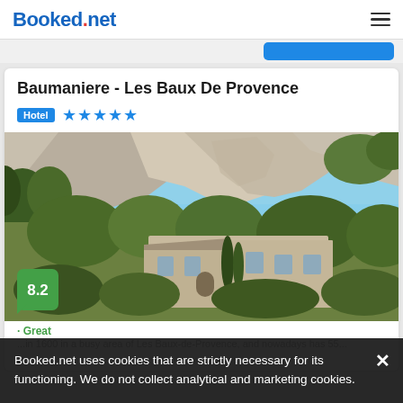Booked.net
Baumaniere - Les Baux De Provence
Hotel ★★★★★
[Figure (photo): Exterior photo of Baumaniere hotel with stone buildings nestled below rocky limestone cliffs and surrounded by lush green trees, in Les Baux-de-Provence, France. Score badge 8.2 visible in lower left.]
Booked.net uses cookies that are strictly necessary for its functioning. We do not collect analytical and marketing cookies.